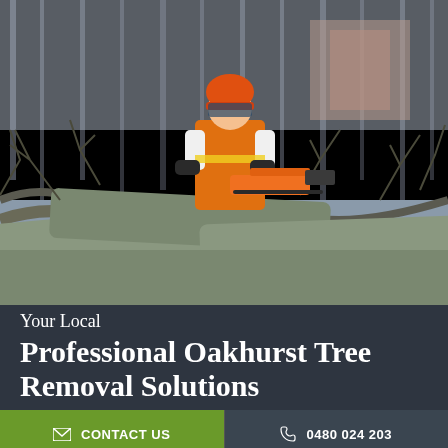[Figure (photo): A worker wearing an orange safety vest and orange hard hat uses a chainsaw to cut through fallen tree branches and logs. The background shows bare trees and a blurred building. The scene depicts professional tree removal work.]
Your Local Professional Oakhurst Tree Removal Solutions
CONTACT US
0480 024 203